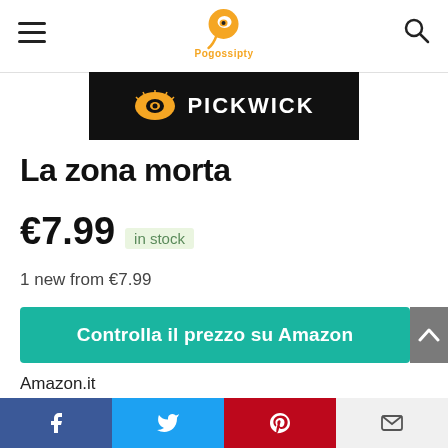Pogossipty — navigation header with hamburger menu and search
[Figure (logo): Pickwick publisher logo — black banner with eye icon and PICKWICK text in white]
La zona morta
€7.99  in stock
1 new from €7.99
Controlla il prezzo su Amazon
Amazon.it
as of Febbraio 23, 2022 3:43 pm
Social share bar: Facebook, Twitter, Pinterest, Email